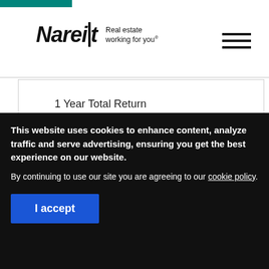Nareit Real estate working for you.
1 Year Total Return
N/A
Stock price
This website uses cookies to enhance content, analyze traffic and serve advertising, ensuring you get the best experience on our website.
By continuing to use our site you are agreeing to our cookie policy.
I accept